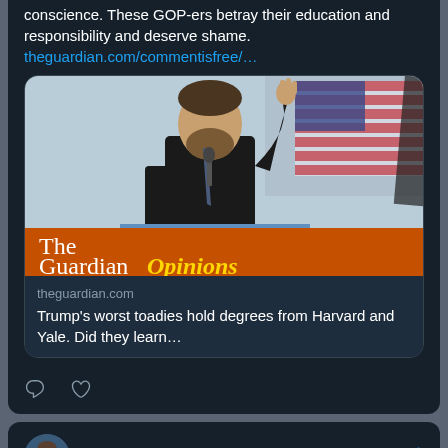conscience. These GOP-ers betray their education and responsibility and deserve shame. theguardian.com/commentisfree/…
[Figure (screenshot): Link card showing The Guardian Opinions article with photo of man at podium with American flag, titled 'Trump's worst toadies hold degrees from Harvard and Yale. Did they learn...']
[Figure (photo): Avatar photo of Mike Gwalt profile picture]
Mike Gwalt... @MikeGwal... · Aug 6 "Time to take away those people's cars, one and done, you're walking now. Is that cruel and unusual punishment? Cruel and